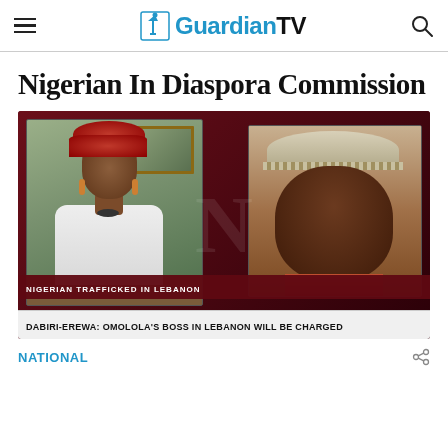GuardianTV
Nigerian In Diaspora Commission
[Figure (screenshot): TV screenshot showing two people on a split-screen video: a woman wearing a red headwrap (left panel) and a person wearing a beaded cap (right panel). Lower chyron reads 'NIGERIAN TRAFFICKED IN LEBANON' and 'DABIRI-EREWA: OMOLOLA'S BOSS IN LEBANON WILL BE CHARGED']
NATIONAL